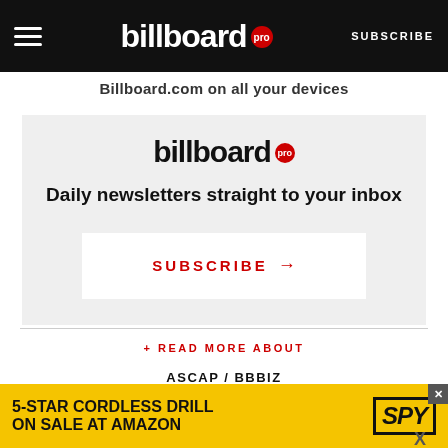billboard pro  SUBSCRIBE
Billboard.com on all your devices
[Figure (logo): Billboard Pro logo with red circle badge and tagline: Daily newsletters straight to your inbox, with SUBSCRIBE button]
+ READ MORE ABOUT
ASCAP / BBBIZ
[Figure (infographic): Advertisement banner: 5-STAR CORDLESS DRILL ON SALE AT AMAZON with SPY logo on yellow background]